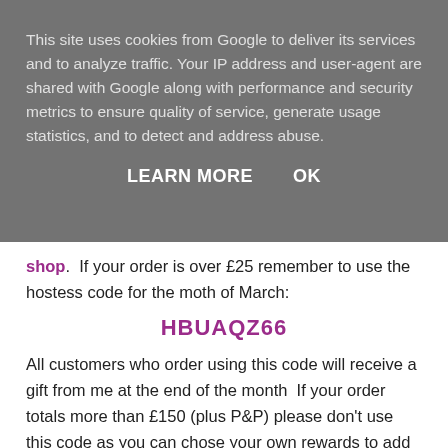This site uses cookies from Google to deliver its services and to analyze traffic. Your IP address and user-agent are shared with Google along with performance and security metrics to ensure quality of service, generate usage statistics, and to detect and address abuse.
LEARN MORE    OK
shop.  If your order is over £25 remember to use the hostess code for the moth of March:
HBUAQZ66
All customers who order using this code will receive a gift from me at the end of the month  If your order totals more than £150 (plus P&P) please don't use this code as you can chose your own rewards to add to your order,  you will still get a gift from me.
If you love Stampin' Up! and want to be part of this